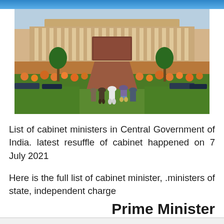[Figure (photo): Group of men in traditional Indian attire walking in front of the Indian Parliament building (Sansad Bhavan), with marigold gardens on either side of a red stone pathway. White colonnade of Parliament visible in background.]
List of cabinet ministers in Central Government of India. latest resuffle of cabinet happened on 7 July 2021
Here is the full list of cabinet minister, .ministers of state, independent charge
Prime Minister